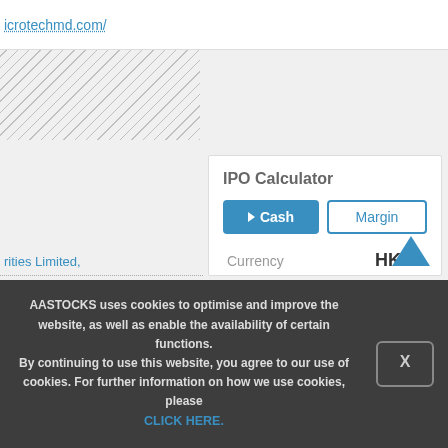icrotechmd.com/
rities Limited,
Corporation
IPO Calculator
Cash
Margin
| Field | Value |
| --- | --- |
| Currency | HKD |
| Lot size | 100 |
| Listing price | 31.15 |
| Quantity (Shares) | 0 Shares |
AASTOCKS uses cookies to optimise and improve the website, as well as enable the availability of certain functions. By continuing to use this website, you agree to our use of cookies. For further information on how we use cookies, please CLICK HERE.